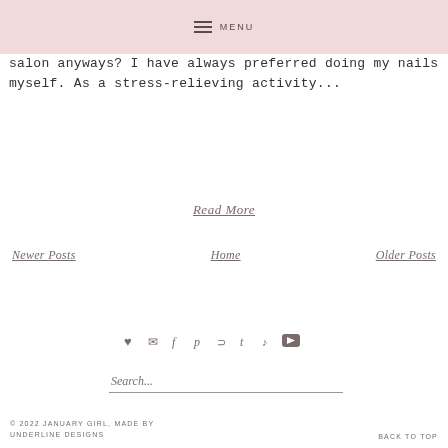MENU
salon anyways? I have always preferred doing my nails myself. As a stress-relieving activity...
Read More
Newer Posts    Home    Older Posts
[Figure (other): Social media icons: heart, email, facebook, pinterest, rss, tumblr, twitter, youtube]
Search...
© 2022 JANUARY GIRL, MADE BY UNDERLINE DESIGNS    BACK TO TOP